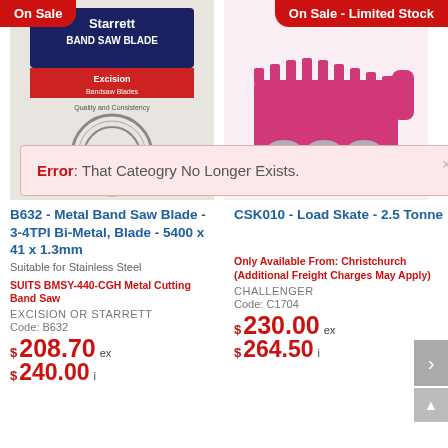[Figure (photo): Product photo of Starrett Band Saw Blade - Excision - in packaging]
[Figure (photo): Product photo of pink/magenta Load Skate - 2.5 Tonne]
Error: That Cateogry No Longer Exists.
B632 - Metal Band Saw Blade - 3-4TPI Bi-Metal, Blade - 5400 x 41 x 1.3mm
Suitable for Stainless Steel
CSK010 - Load Skate - 2.5 Tonne
SUITS BMSY-440-CGH Metal Cutting Band Saw
EXCISION OR STARRETT
Code: B632
$ 208.70 ex
$ 240.00 i
Only Available From: Christchurch (Additional Freight Charges May Apply)
CHALLENGER
Code: C1704
$ 230.00 ex
$ 264.50 i